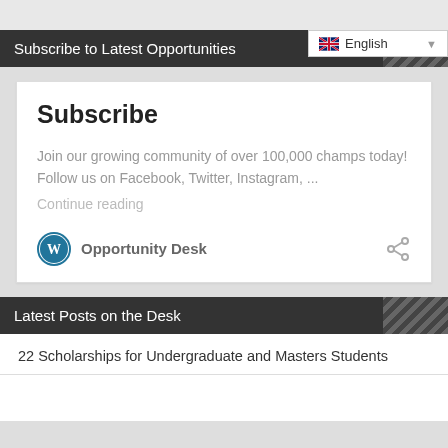English (language selector dropdown)
Subscribe to Latest Opportunities
Subscribe
Join our growing community of over 100,000 champs today! Follow us on Facebook, Twitter, Instagram, ...
Continue reading
Opportunity Desk
Latest Posts on the Desk
22 Scholarships for Undergraduate and Masters Students